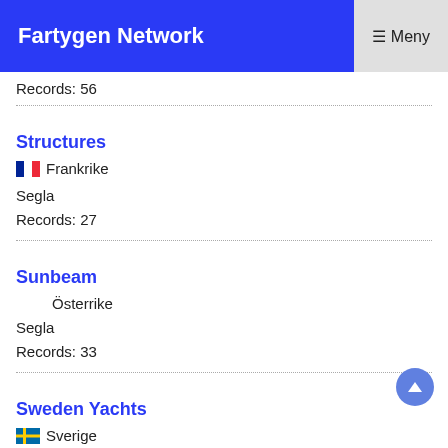Fartygen Network  ☰ Meny
Records: 56
Structures
🇫🇷 Frankrike
Segla
Records: 27
Sunbeam
Österrike
Segla
Records: 33
Sweden Yachts
🇸🇪 Sverige
Segla
Records: 97